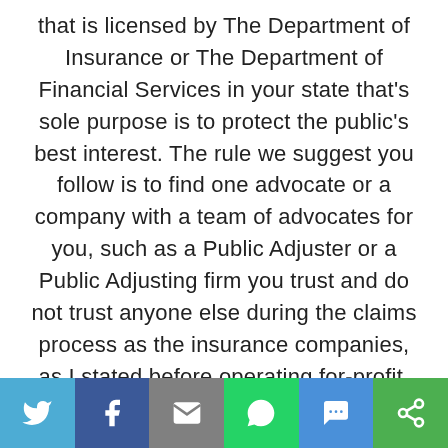that is licensed by The Department of Insurance or The Department of Financial Services in your state that's sole purpose is to protect the public's best interest. The rule we suggest you follow is to find one advocate or a company with a team of advocates for you, such as a Public Adjuster or a Public Adjusting firm you trust and do not trust anyone else during the claims process as the insurance companies, as I stated before operating for-profit. Their goal is to maximize shareholder value or owner
Social share bar: Twitter, Facebook, Email, WhatsApp, SMS, Other